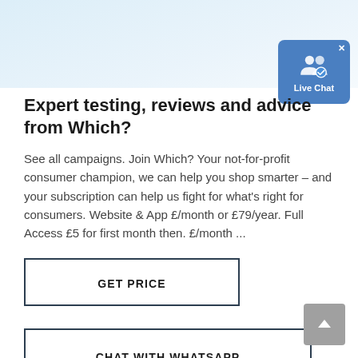[Figure (screenshot): Live Chat button widget in top-right corner, blue background with two user icons and a checkmark badge, with an X close button]
Expert testing, reviews and advice from Which?
See all campaigns. Join Which? Your not-for-profit consumer champion, we can help you shop smarter – and your subscription can help us fight for what's right for consumers. Website & App £/month or £79/year. Full Access £5 for first month then. £/month ...
GET PRICE
CHAT WITH WHATSAPP